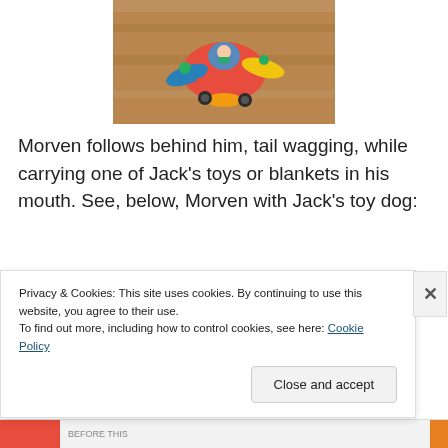[Figure (photo): Colorful toy airplane with cartoon figure on a wooden floor surface]
Morven follows behind him, tail wagging, while carrying one of Jack's toys or blankets in his mouth. See, below, Morven with Jack's toy dog:
[Figure (photo): Black and white close-up photo of a shaggy dog (Morven) looking at camera, very dark background]
Privacy & Cookies: This site uses cookies. By continuing to use this website, you agree to their use.
To find out more, including how to control cookies, see here: Cookie Policy